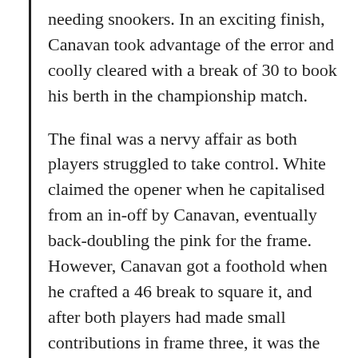needing snookers. In an exciting finish, Canavan took advantage of the error and coolly cleared with a break of 30 to book his berth in the championship match.
The final was a nervy affair as both players struggled to take control. White claimed the opener when he capitalised from an in-off by Canavan, eventually back-doubling the pink for the frame. However, Canavan got a foothold when he crafted a 46 break to square it, and after both players had made small contributions in frame three, it was the amateur's turn to steal